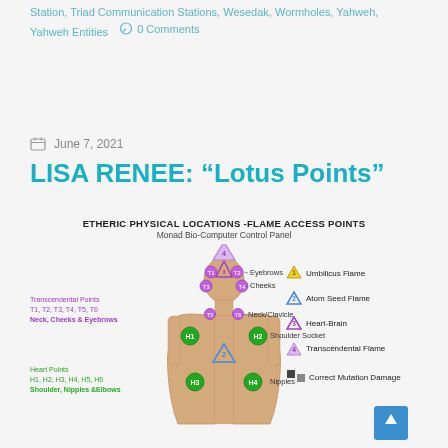Station, Triad Communication Stations, Wesedak, Wormholes, Yahweh, Yahweh Entities   0 Comments
June 7, 2021
LISA RENEE: “Lotus Points”
[Figure (illustration): Etheric Physical Locations - Flame Access Points diagram showing a human body figure with labeled points: Transcendental Points T1-T6 at Neck, Cheeks & Eyebrows (purple), Heart Points H1-H6 at Shoulder, Nipples & Elbows (green), plus right-side legend showing Umbilicus Flame (yellow triangle), Atom Seed Flame (blue triangle), Heart-Brain (purple triangle), Transcendental Flame (light purple triangle), Correct Mutation Damage (black squares). Labels on body: Eyebrows, Cheeks, Neck/Clavicle, Shoulder Socket, Nipples. Title: ETHERIC PHYSICAL LOCATIONS -FLAME ACCESS POINTS, Monad Bio-Computer Control Panel]